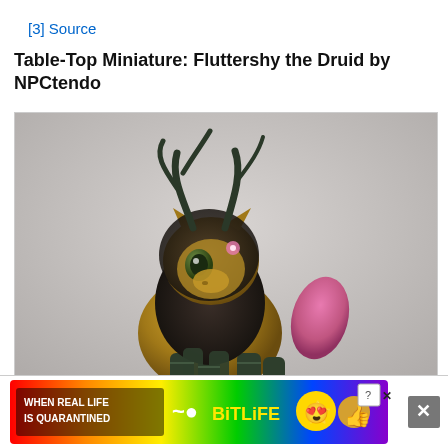[3] Source
Table-Top Miniature: Fluttershy the Druid by NPCtendo
[Figure (photo): A table-top miniature figurine of Fluttershy the Druid by NPCtendo. The figurine is a small pony-style character painted in golden yellow, wearing dark grey/green armor on its legs. It has a dark brown/black mane, antler-like horns on its head, expressive large eyes, and a bright pink tail. The figure is set against a grey-white neutral background.]
[Figure (screenshot): Advertisement banner for BitLife mobile game. Shows colorful rainbow background with text WHEN REAL LIFE IS QUARANTINED, a tilde-arrow symbol, a large yellow BITLIFE logo, and emoji faces. Has a close X button on the right.]